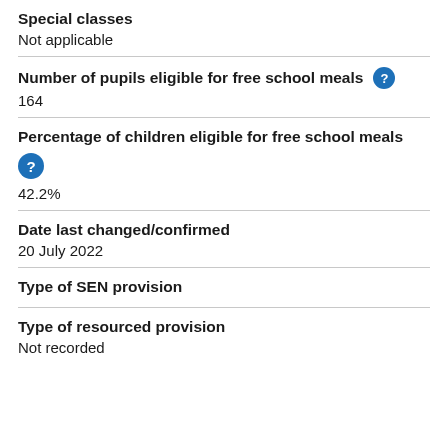Special classes
Not applicable
Number of pupils eligible for free school meals
164
Percentage of children eligible for free school meals
42.2%
Date last changed/confirmed
20 July 2022
Type of SEN provision
Type of resourced provision
Not recorded